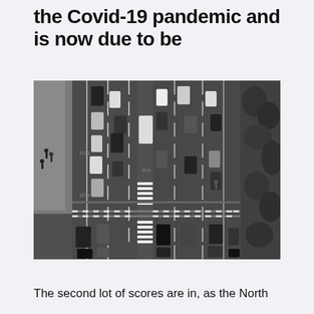the Covid-19 pandemic and is now due to be
[Figure (photo): Aerial black and white photograph of a busy multi-lane urban road intersection with cars, buses, and a pedestrian crossing visible from above. Bus lanes marked 'BUS' are visible. Trees and buildings are seen on the sides.]
The second lot of scores are in, as the North